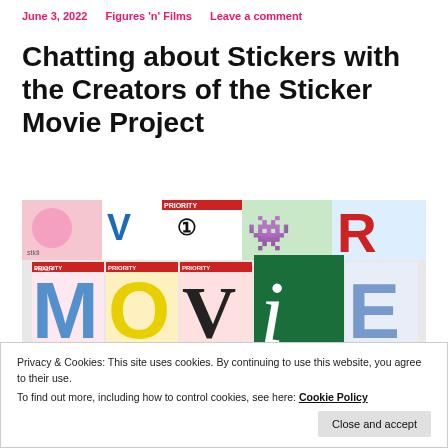June 3, 2022   Figures 'n' Films   Leave a comment
Chatting about Stickers with the Creators of the Sticker Movie Project
[Figure (photo): Collage of stickers spelling out MOVIE on USPS Priority Mail envelopes, with stickermovie Instagram watermark and stickermovie.com text.]
Privacy & Cookies: This site uses cookies. By continuing to use this website, you agree to their use.
To find out more, including how to control cookies, see here: Cookie Policy
town or city theres a chance that you're exposed to them